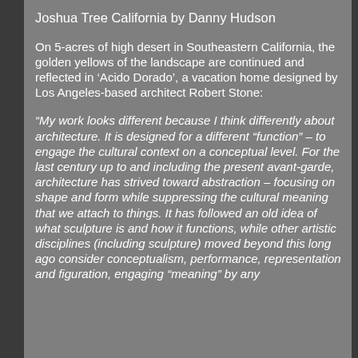Joshua Tree California by Danny Hudson
On 5-acres of high desert in Southeastern California, the golden yellows of the landscape are continued and reflected in ‘Acido Dorado’, a vacation home designed by Los Angeles-based architect Robert Stone:
“My work looks different because I think differently about architecture. It is designed for a different “function” – to engage the cultural context on a conceptual level. For the last century up to and including the present avant-garde, architecture has strived toward abstraction – focusing on shape and form while suppressing the cultural meaning that we attach to things. It has followed an old idea of what sculpture is and how it functions, while other artistic disciplines (including sculpture) moved beyond this long ago consider conceptualism, performance, representation and figuration, engaging “meaning” by any